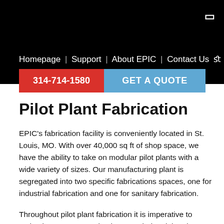Homepage | Support | About EPIC | Contact Us
314-714-1580
GET A QUOTE
Pilot Plant Fabrication
EPIC's fabrication facility is conveniently located in St. Louis, MO. With over 40,000 sq ft of shop space, we have the ability to take on modular pilot plants with a wide variety of sizes. Our manufacturing plant is segregated into two specific fabrications spaces, one for industrial fabrication and one for sanitary fabrication.
Throughout pilot plant fabrication it is imperative to maintain 100% separation between industrial and sanitary components. Our craftsman go the extra mile by having color-coded tools and tool attachments – to help ensure cross contamination does